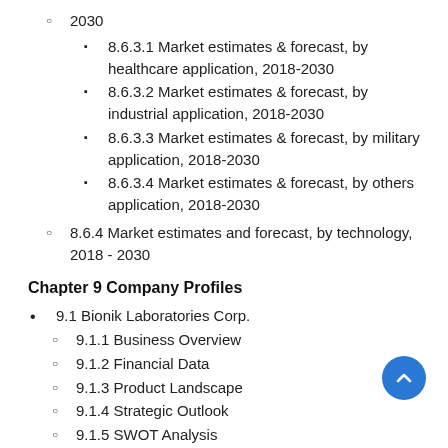2030
8.6.3.1 Market estimates & forecast, by healthcare application, 2018-2030
8.6.3.2 Market estimates & forecast, by industrial application, 2018-2030
8.6.3.3 Market estimates & forecast, by military application, 2018-2030
8.6.3.4 Market estimates & forecast, by others application, 2018-2030
8.6.4 Market estimates and forecast, by technology, 2018 - 2030
Chapter 9 Company Profiles
9.1 Bionik Laboratories Corp.
9.1.1 Business Overview
9.1.2 Financial Data
9.1.3 Product Landscape
9.1.4 Strategic Outlook
9.1.5 SWOT Analysis